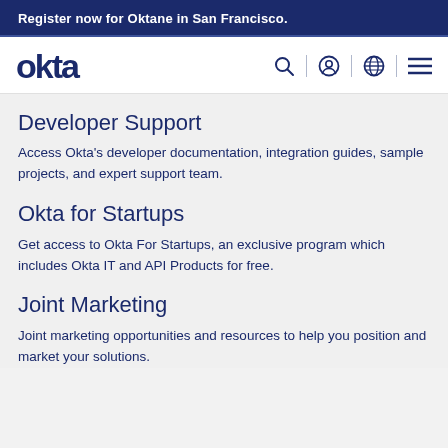Register now for Oktane in San Francisco.
[Figure (logo): Okta logo with navigation icons: search, user account, globe, and hamburger menu]
Developer Support
Access Okta's developer documentation, integration guides, sample projects, and expert support team.
Okta for Startups
Get access to Okta For Startups, an exclusive program which includes Okta IT and API Products for free.
Joint Marketing
Joint marketing opportunities and resources to help you position and market your solutions.